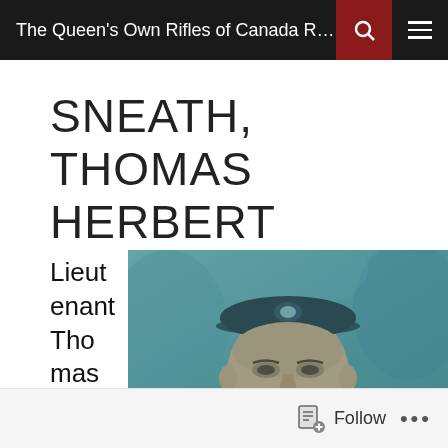The Queen's Own Rifles of Canada Regim...
SNEATH, THOMAS HERBERT
Lieutenant Thomas Herbert Sneath
[Figure (photo): Black and white portrait photograph of Lieutenant Thomas Herbert Sneath in military uniform with peaked cap, tinted in teal/blue tone.]
Follow